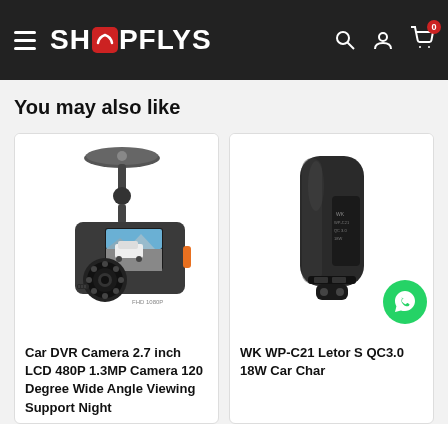SHOPFLYS — navigation header with hamburger menu, logo, search, account, and cart icons
You may also like
[Figure (photo): Car DVR Camera 2.7 inch LCD 480P 1.3MP product photo showing dashcam with suction mount and screen displaying a white sports car]
Car DVR Camera 2.7 inch LCD 480P 1.3MP Camera 120 Degree Wide Angle Viewing Support Night
[Figure (photo): WK WP-C21 Letor S QC3.0 18W Car Charger product photo showing a black car charger with WhatsApp contact button overlay]
WK WP-C21 Letor S QC3.0 18W Car Char